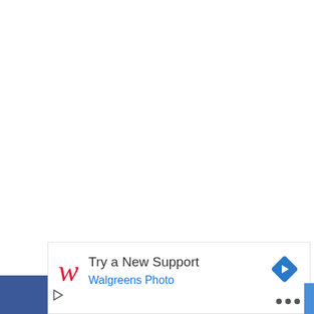[Figure (screenshot): Walgreens Photo advertisement banner. Shows the Walgreens cursive W logo in red on the left, followed by the text 'Try a New Support' in dark gray and 'Walgreens Photo' in blue underneath. A blue diamond-shaped share/navigation icon is on the right side of the banner. Below the banner is a dark blue bar on the left, a play button icon, and three dots menu on the right.]